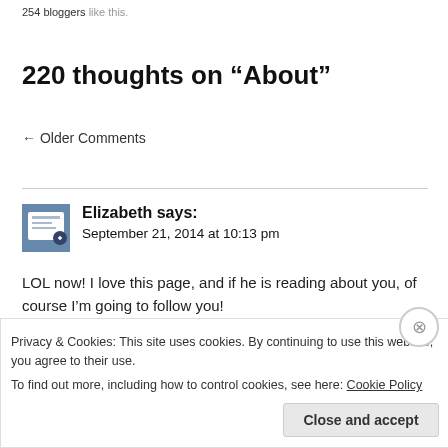254 bloggers like this.
220 thoughts on “About”
← Older Comments
Elizabeth says:
September 21, 2014 at 10:13 pm
LOL now! I love this page, and if he is reading about you, of course I’m going to follow you!
Privacy & Cookies: This site uses cookies. By continuing to use this website, you agree to their use.
To find out more, including how to control cookies, see here: Cookie Policy
Close and accept